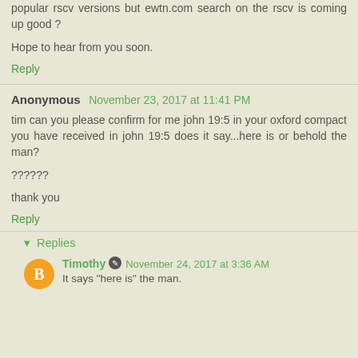popular rscv versions but ewtn.com search on the rscv is coming up good ?
Hope to hear from you soon.
Reply
Anonymous November 23, 2017 at 11:41 PM
tim can you please confirm for me john 19:5 in your oxford compact you have received in john 19:5 does it say...here is or behold the man?
??????
thank you
Reply
Replies
Timothy November 24, 2017 at 3:36 AM
It says "here is" the man.